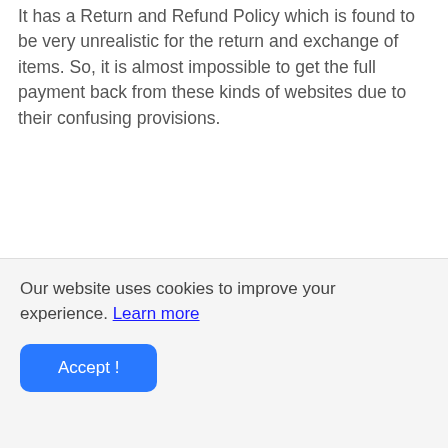It has a Return and Refund Policy which is found to be very unrealistic for the return and exchange of items. So, it is almost impossible to get the full payment back from these kinds of websites due to their confusing provisions.
Our website uses cookies to improve your experience. Learn more
Accept !